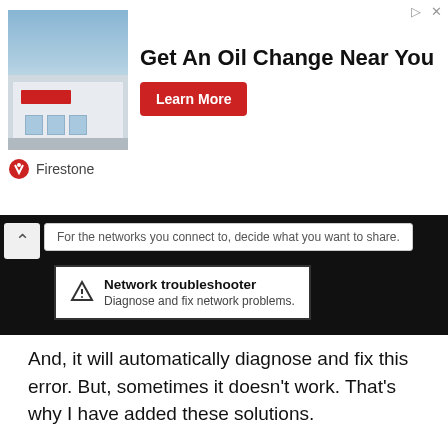[Figure (screenshot): Advertisement banner for Firestone oil change service showing a store building image, bold headline 'Get An Oil Change Near You', a red 'Learn More' button, and the Firestone logo below.]
[Figure (screenshot): Windows network troubleshooter UI screenshot showing a dark background, a chevron/collapse button, a tooltip reading 'For the networks you connect to, decide what you want to share.', and a popup box with a warning triangle icon labeled 'Network troubleshooter' with subtitle 'Diagnose and fix network problems.']
And, it will automatically diagnose and fix this error. But, sometimes it doesn't work. That's why I have added these solutions.
Check Network Servies
To keep the internet working and stay connected. There are some Windows services that need to stay